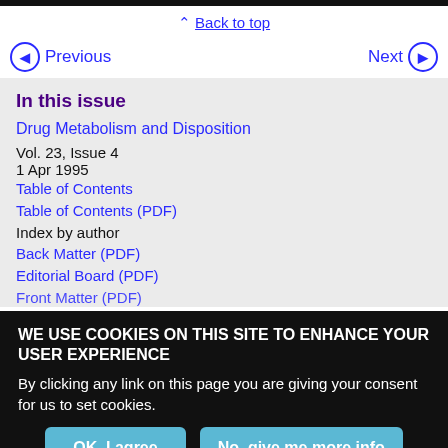Back to top
Previous | Next
In this issue
Drug Metabolism and Disposition
Vol. 23, Issue 4
1 Apr 1995
Table of Contents
Table of Contents (PDF)
Index by author
Back Matter (PDF)
Editorial Board (PDF)
Front Matter (PDF)
WE USE COOKIES ON THIS SITE TO ENHANCE YOUR USER EXPERIENCE
By clicking any link on this page you are giving your consent for us to set cookies.
OK, I agree | No, give me more info